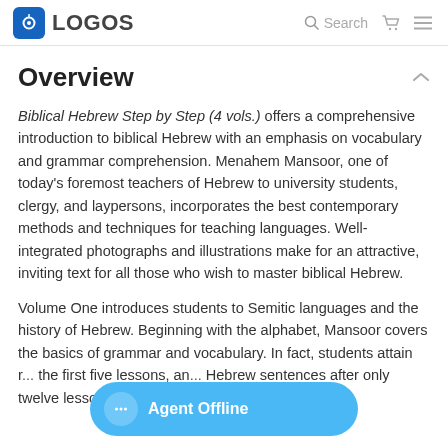LOGOS  Search
Overview
Biblical Hebrew Step by Step (4 vols.) offers a comprehensive introduction to biblical Hebrew with an emphasis on vocabulary and grammar comprehension. Menahem Mansoor, one of today’s foremost teachers of Hebrew to university students, clergy, and laypersons, incorporates the best contemporary methods and techniques for teaching languages. Well-integrated photographs and illustrations make for an attractive, inviting text for all those who wish to master biblical Hebrew.
Volume One introduces students to Semitic languages and the history of Hebrew. Beginning with the alphabet, Mansoor covers the basics of grammar and vocabulary. In fact, students attain r... the first five lessons, an... Hebrew sentences after only twelve lessons! Volume